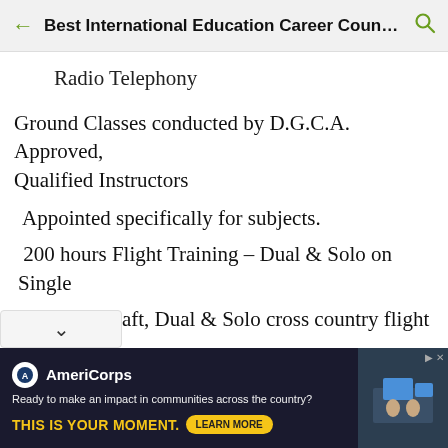Best International Education Career Couns...
Radio Telephony
Ground Classes conducted by D.G.C.A. Approved, Qualified Instructors
Appointed specifically for subjects.
200 hours Flight Training – Dual & Solo on Single
Engine Aircraft, Dual & Solo cross country flight & night
Flying also includes Instrument Rating. 12 Months
[Figure (screenshot): AmeriCorps advertisement banner: dark background with AmeriCorps logo, text 'Ready to make an impact in communities across the country? THIS IS YOUR MOMENT.' with a LEARN MORE button and a photo of people in an office.]